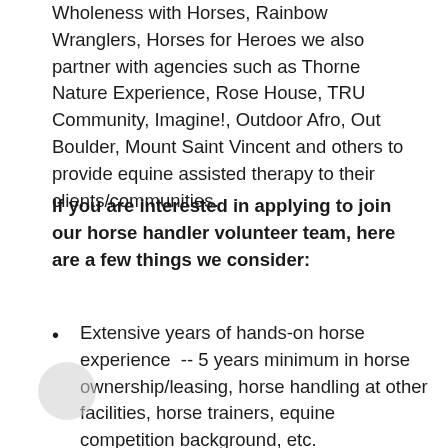Wholeness with Horses, Rainbow Wranglers, Horses for Heroes we also partner with agencies such as Thorne Nature Experience, Rose House, TRU Community, Imagine!, Outdoor Afro, Out Boulder, Mount Saint Vincent and others to provide equine assisted therapy to their clients/communities.
If you are interested in applying to join our horse handler volunteer team, here are a few things we consider:
Extensive years of hands-on horse experience  -- 5 years minimum in horse ownership/leasing, horse handling at other facilities, horse trainers, equine competition background, etc.
Patient, open-minded, inclusive,